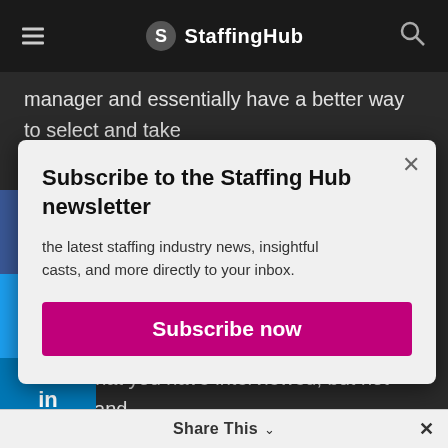StaffingHub
manager and essentially have a better way to select and take
Subscribe to the Staffing Hub newsletter
the latest staffing industry news, insightful casts, and more directly to your inbox.
Subscribe now
date to the next level. So, you can now create talent ines for customers with candidates that are coming off assignments. Or you can create candidate pipelines with people that you have interviewed, but not placed, and basically taking the buyer journey. So, from the customer side, it's much easier to see who is available, who we can get in touch with and basically bring decision much,
Share This